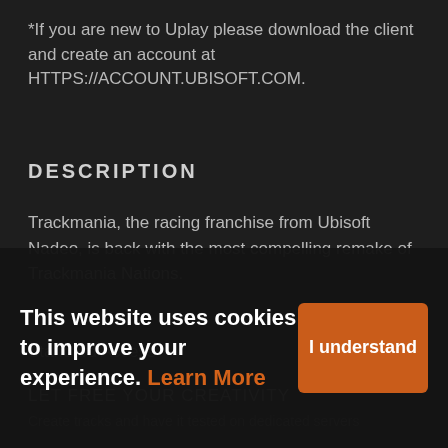*If you are new to Uplay please download the client and create an account at HTTPS://ACCOUNT.UBISOFT.COM.
DESCRIPTION
Trackmania, the racing franchise from Ubisoft Nadeo, is back with the most compelling remake of Trackmania Nations.
Standard Access
LET FREE YOUR CREATIVITY
Create tracks and have it tested on dedicated servers
This website uses cookies to improve your experience. Learn More
I understand